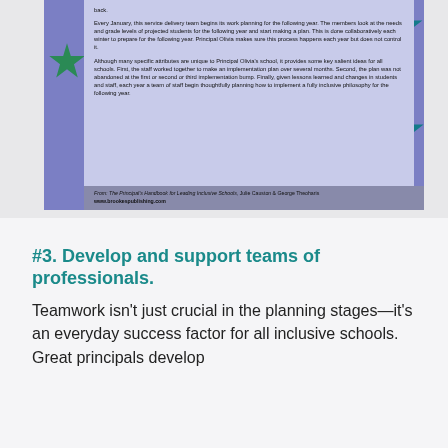[Figure (illustration): A decorative image block with a blue/purple background featuring star shapes in teal and green, overlaid with a white/light-blue content panel containing two paragraphs of text about service delivery team planning and inclusive philosophy. A footer strip at the bottom cites the source book and URL.]
From: The Principal's Handbook for Leading Inclusive Schools, Julie Causton & George Theoharis
www.brookespublishing.com
#3. Develop and support teams of professionals.
Teamwork isn't just crucial in the planning stages—it's an everyday success factor for all inclusive schools. Great principals develop